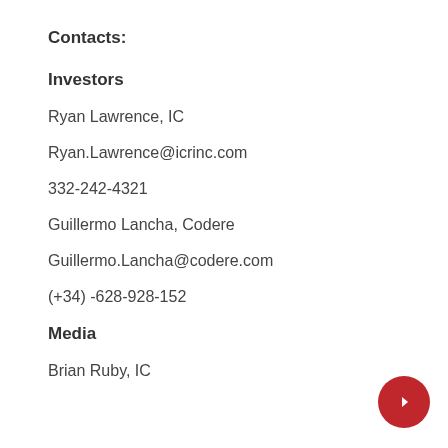Contacts:
Investors
Ryan Lawrence, IC
Ryan.Lawrence@icrinc.com
332-242-4321
Guillermo Lancha, Codere
Guillermo.Lancha@codere.com
(+34) -628-928-152
Media
Brian Ruby, IC